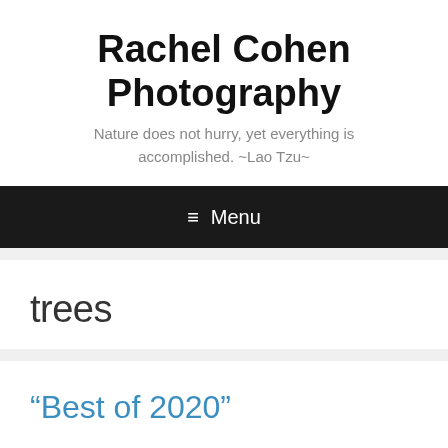Rachel Cohen Photography
Nature does not hurry, yet everything is accomplished. ~Lao Tzu~
≡ Menu
trees
“Best of 2020”